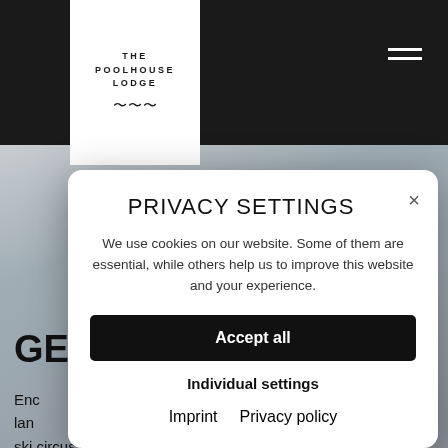[Figure (screenshot): The Poolhouse Lodge logo - white box with text THE POOLHOUSE LODGE and wave graphic]
[Figure (screenshot): Hamburger menu icon (three horizontal white lines) in top right corner]
[Figure (screenshot): Snowy slope background image]
PRIVACY SETTINGS
We use cookies on our website. Some of them are essential, while others help us to improve this website and your experience.
Accept all
Individual settings
Imprint   Privacy policy
GE
Enc lan nn ski circus offers skiing pleasure at the highest level, and with 270 kilometres of slopes is considered one of the larg skiing areas in Austria.